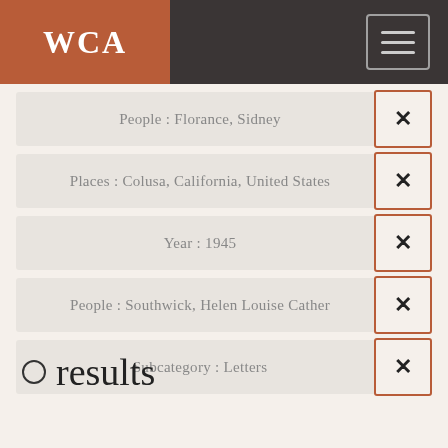WCA
People : Florance, Sidney
Places : Colusa, California, United States
Year : 1945
People : Southwick, Helen Louise Cather
Subcategory : Letters
0 results